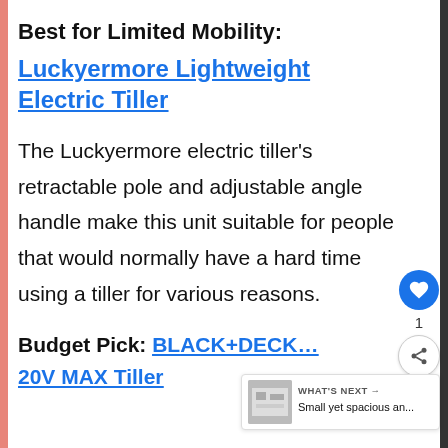Best for Limited Mobility:
Luckyermore Lightweight Electric Tiller
The Luckyermore electric tiller’s retractable pole and adjustable angle handle make this unit suitable for people that would normally have a hard time using a tiller for various reasons.
Budget Pick: BLACK+DECK… 20V MAX Tiller